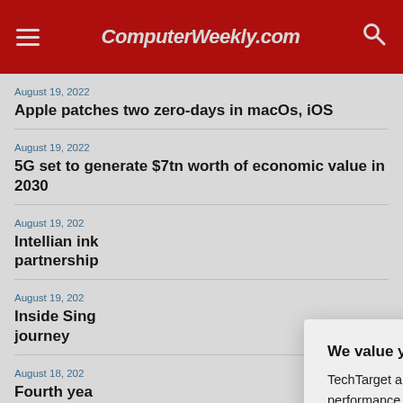ComputerWeekly.com
August 19, 2022
Apple patches two zero-days in macOs, iOS
August 19, 2022
5G set to generate $7tn worth of economic value in 2030
August 19, 202…
Intellian ink… partnership…
August 19, 202…
Inside Sing… journey
August 18, 202…
Fourth yea… computing…
[Figure (screenshot): Privacy consent modal dialog from TechTarget/ComputerWeekly.com. Bold heading: 'We value your privacy.' Body text: 'TechTarget and its partners employ cookies to improve your experience on our site, to analyze traffic and performance, and to serve personalized content and advertising that are relevant to your professional interests. You can manage your settings at any time. Please view our Privacy Policy for more information'. Two buttons: 'OK' (teal) and 'Settings' (outlined). Close button (X) in top-right corner.]